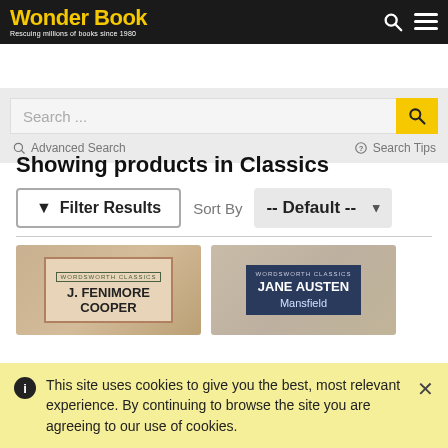Wonder Book — Rescuing millions of books since 1980
Search ...
Advanced Search   Search Tips
Showing products in Classics
Filter Results   Sort By -- Default --
[Figure (screenshot): Book thumbnail for J. Fenimore Cooper - Wordsworth Classics]
[Figure (screenshot): Book thumbnail for Jane Austen - Mansfield - Wordsworth Classics]
This site uses cookies to give you the best, most relevant experience. By continuing to browse the site you are agreeing to our use of cookies.